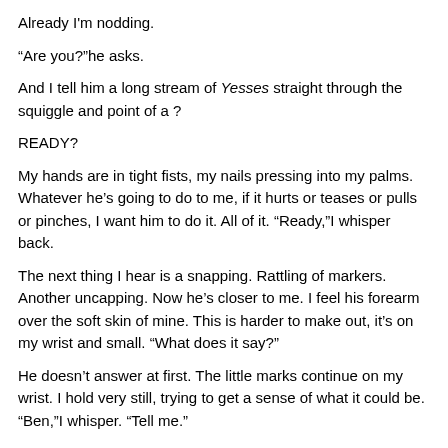Already I'm nodding.
“Are you?”he asks.
And I tell him a long stream of Yesses straight through the squiggle and point of a ?
READY?
My hands are in tight fists, my nails pressing into my palms. Whatever he’s going to do to me, if it hurts or teases or pulls or pinches, I want him to do it. All of it. “Ready,”I whisper back.
The next thing I hear is a snapping. Rattling of markers. Another uncapping. Now he’s closer to me. I feel his forearm over the soft skin of mine. This is harder to make out, it’s on my wrist and small. “What does it say?”
He doesn’t answer at first. The little marks continue on my wrist. I hold very still, trying to get a sense of what it could be. “Ben,”I whisper. “Tell me.”